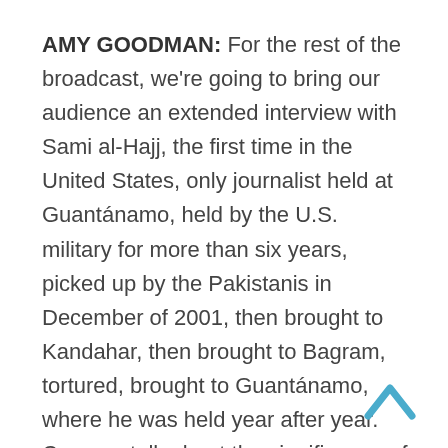AMY GOODMAN: For the rest of the broadcast, we're going to bring our audience an extended interview with Sami al-Hajj, the first time in the United States, only journalist held at Guantánamo, held by the U.S. military for more than six years, picked up by the Pakistanis in December of 2001, then brought to Kandahar, then brought to Bagram, tortured, brought to Guantánamo, where he was held year after year. Can you talk about the significance of his case?
BAHER AZMY: Yeah. Well, it's important